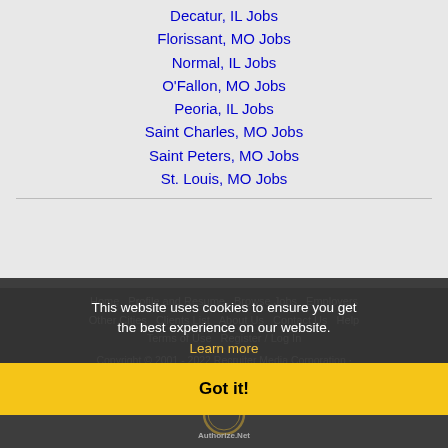Decatur, IL Jobs
Florissant, MO Jobs
Normal, IL Jobs
O'Fallon, MO Jobs
Peoria, IL Jobs
Saint Charles, MO Jobs
Saint Peters, MO Jobs
St. Louis, MO Jobs
Home  Profile and Resume  Browse Jobs  Employers  Other Cities  Clients List  About Us  Contact Us  Help  Terms of Use  Register / Log In  Copyright © 2001 - 2022 Recruiter Media Corporation · Springfield Jobs
This website uses cookies to ensure you get the best experience on our website. Learn more
Got it!
[Figure (logo): Authorize.Net verified badge with circular seal and text 'Authorize.Net']